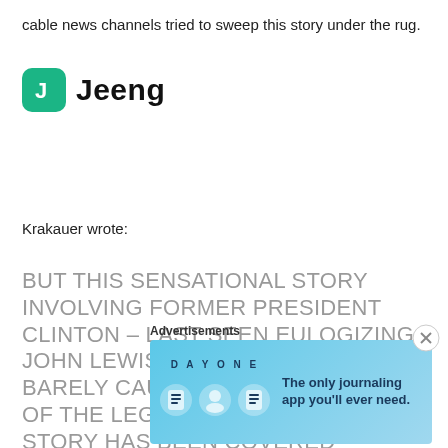cable news channels tried to sweep this story under the rug.
[Figure (logo): Jeeng logo — green rounded square with white letter J, followed by bold text 'Jeeng']
Krakauer wrote:
BUT THIS SENSATIONAL STORY INVOLVING FORMER PRESIDENT CLINTON – LAST SEEN EULOGIZING JOHN LEWIS JUST THIS WEEK – HAS BARELY CAUGHT THE ATTENTION OF THE LEGACY MEDIA. WHILE THE STORY HAS BEEN COVERED DOZENS OF TIMES ON FOX NEWS, CNN VIEWERS HAVEN'T HEARD ANYTHING
Advertisements
[Figure (illustration): Day One journaling app advertisement banner with blue gradient background, app icons, and text 'The only journaling app you'll ever need.']